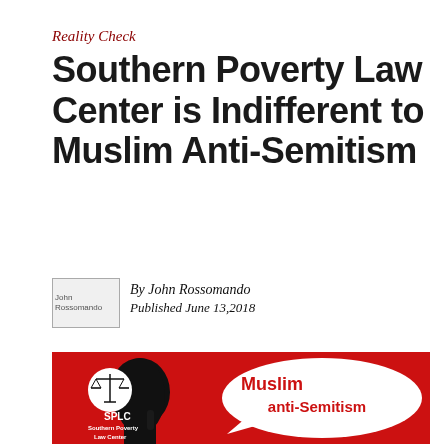Reality Check
Southern Poverty Law Center is Indifferent to Muslim Anti-Semitism
By John Rossomando
Published June 13,2018
[Figure (illustration): Red background graphic showing a black silhouette of a person's head (facing right, finger to lips in a shushing gesture) with a white circle containing scales of justice symbol and text 'SPLC Southern Poverty Law Center' on the left, and a white speech bubble on the right containing red bold text 'Muslim anti-Semitism'.]